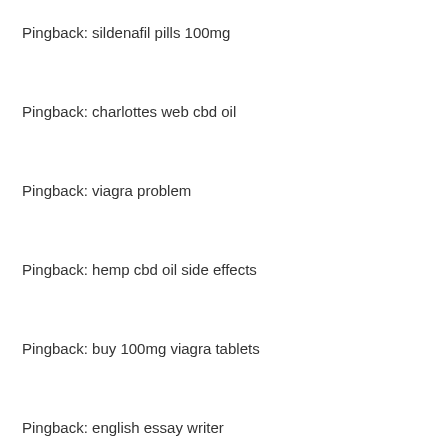Pingback: sildenafil pills 100mg
Pingback: charlottes web cbd oil
Pingback: viagra problem
Pingback: hemp cbd oil side effects
Pingback: buy 100mg viagra tablets
Pingback: english essay writer